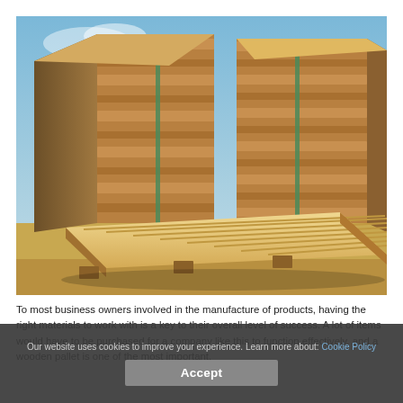[Figure (photo): Stacks of wooden pallets outdoors under a blue sky. Multiple large stacks of new lumber pallets arranged together, with a single pallet lying flat in the foreground.]
To most business owners involved in the manufacture of products, having the right materials to work with is a key to their overall level of success. A lot of items would have to be purchased for a company like this to function effectively, and a wooden pallet is one of the most important.
Our website uses cookies to improve your experience. Learn more about: Cookie Policy
Accept